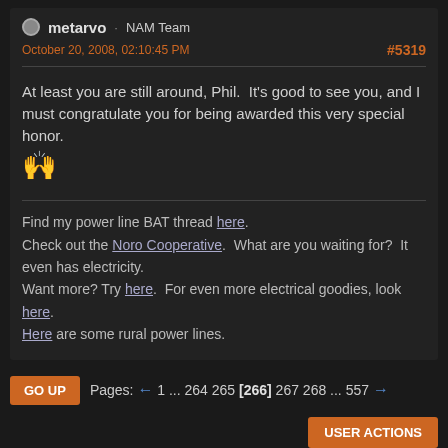metarvo · NAM Team
October 20, 2008, 02:10:45 PM   #5319
At least you are still around, Phil.  It's good to see you, and I must congratulate you for being awarded this very special honor.
[Figure (illustration): Two clapping hands emoji]
Find my power line BAT thread here.
Check out the Noro Cooperative.  What are you waiting for?  It even has electricity.
Want more? Try here.  For even more electrical goodies, look here.
Here are some rural power lines.
GO UP  Pages: ← 1 ... 264 265 [266] 267 268 ... 557 →
USER ACTIONS
Menu